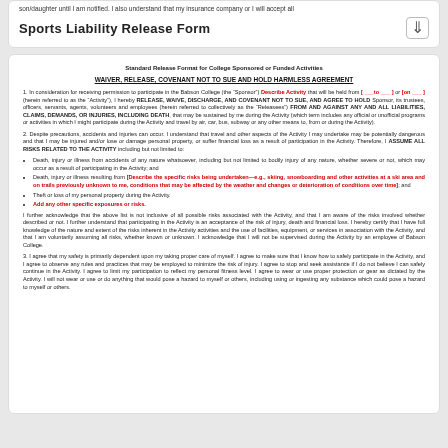son/daughter until I am notified. I also understand that my insurance company or I will accept all
Sports Liability Release Form
Standard Release Format for College Sponsored or Funded Activities
WAIVER, RELEASE, COVENANT NOT TO SUE AND HOLD HARMLESS AGREEMENT
1. In consideration for receiving permission to participate in the Babson College (the "Sponsor") Describe Activity that will be held from [___to___] or [on___] (herein referred to as the "Activity"), I hereby RELEASE, WAIVE, DISCHARGE, AND COVENANT NOT TO SUE, AND AGREE TO HOLD Sponsor, its trustees, officers, servants, agents, volunteers and employees (herein referred to collectively as the "Releasees") FROM AND AGAINST ANY AND ALL LIABILITIES, CLAIMS, DEMANDS, OR INJURIES, INCLUDING DEATH, that may be sustained by me during the Activity (which term includes any official or unofficial programs or activities in which I might participate during the Activity and travel by air, car, bus, subway or any other means to, from or during the Activity).
2. Despite precautions, accidents and injuries can occur. I understand that travel and other aspects of the Activity I may undertake may be potentially dangerous and that I may be injured and/or lose or damage personal property, or suffer financial loss as a result of participation in the Activity. Therefore, I ASSUME ALL RISKS RELATED TO THE ACTIVITY including but not limited to:
Death, injury or illness from accidents of any nature whatsoever, including but not limited to bodily injury of any nature, whether severe or not, which may occur as a result of participating in the Activity; and
Death, injury or illness resulting from [Describe the specific risks being undertaken—e.g., skiing, snowboarding and other activities at a ski area and on trails previously unknown to me, conditions that may be affected by the weather and changes or deterioration of conditions over time]; and
Theft or loss of my personal property during the Activity.
Add any other specific exposures or risks.
I further acknowledge that the above list is not inclusive of all possible risks associated with the Activity, and that I am aware of the risks involved whether described or not. I further understand that participating in the Activity is an acceptance of the risk of injury, death and financial loss. I hereby certify that I have full knowledge of the nature and extent of the risks inherent in the Activity activities and the use of facilities, equipment, or services in association with the Activity, and that I am voluntarily assuming all risks, whether known or unknown. I acknowledge that I will not be supervised during the Activity by an employee of Babson College.
3. I agree that my safety is primarily dependent upon my taking proper care of myself. I agree to make sure that I know how to safely participate in the Activity, and I agree to observe any rules and practices that may be employed to minimize the risk of injury. I agree to stop and seek assistance if I do not believe I can safely continue in the Activity. I agree to limit my participation to reflect my personal fitness level. I agree to wear or use proper protection or gear as dictated by the Activity. I will not wear or use or do anything that would pose a hazard to myself or others, including using or ingesting any substance which could pose a hazard to myself or others.